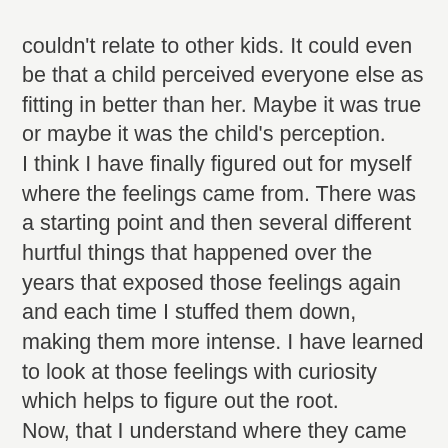couldn't relate to other kids. It could even be that a child perceived everyone else as fitting in better than her. Maybe it was true or maybe it was the child's perception. I think I have finally figured out for myself where the feelings came from. There was a starting point and then several different hurtful things that happened over the years that exposed those feelings again and each time I stuffed them down, making them more intense. I have learned to look at those feelings with curiosity which helps to figure out the root. Now, that I understand where they came from I am really more interested in how I can silence those needy feelings. Today as I have contemplated those feelings I had a picture in my head of a little kid standing at the fence on the playground. A bunch of kids are playing and her little hands are intertwined in the fence, her little face pressed up against the chain links and everyone inside the fence is happy playing together. Everything inside of the little girl is crying out, "Please notice me!" But she is silent, believing no one wees her and wants her. It could just as easily been a woman walking into a new Bible study for the first time and sitting in the midst of a group of strangers where everyone